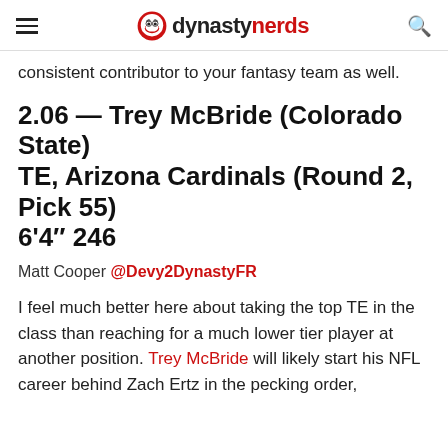dynastynerds
consistent contributor to your fantasy team as well.
2.06 — Trey McBride (Colorado State)
TE, Arizona Cardinals (Round 2, Pick 55)
6'4" 246
Matt Cooper @Devy2DynastyFR
I feel much better here about taking the top TE in the class than reaching for a much lower tier player at another position. Trey McBride will likely start his NFL career behind Zach Ertz in the pecking order,